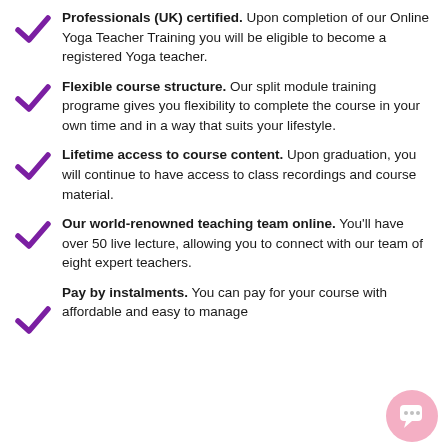Professionals (UK) certified. Upon completion of our Online Yoga Teacher Training you will be eligible to become a registered Yoga teacher.
Flexible course structure. Our split module training programe gives you flexibility to complete the course in your own time and in a way that suits your lifestyle.
Lifetime access to course content. Upon graduation, you will continue to have access to class recordings and course material.
Our world-renowned teaching team online. You'll have over 50 live lecture, allowing you to connect with our team of eight expert teachers.
Pay by instalments. You can pay for your course with affordable and easy to manage